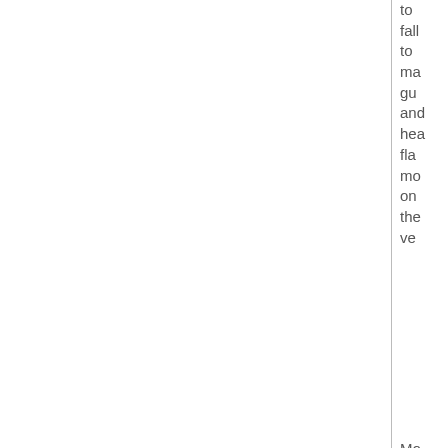to fall to ma gu and hea fla mo on the ve
Mo fro city blo to city blo the pu reg we thr